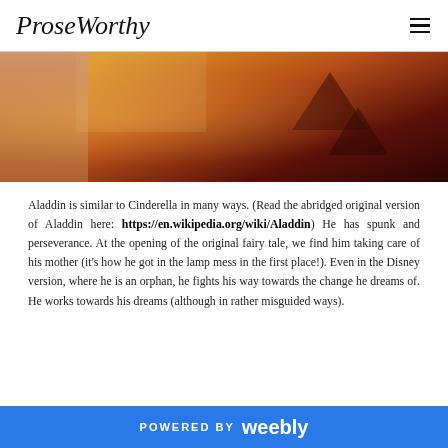ProseWorthy
[Figure (photo): Partial face of a young male character with warm orange/amber lighting and dark background with arrow shapes, cropped at top]
Aladdin is similar to Cinderella in many ways. (Read the abridged original version of Aladdin here: https://en.wikipedia.org/wiki/Aladdin) He has spunk and perseverance. At the opening of the original fairy tale, we find him taking care of his mother (it's how he got in the lamp mess in the first place!). Even in the Disney version, where he is an orphan, he fights his way towards the change he dreams of. He works towards his dreams (although in rather misguided ways).
POWERED BY weebly